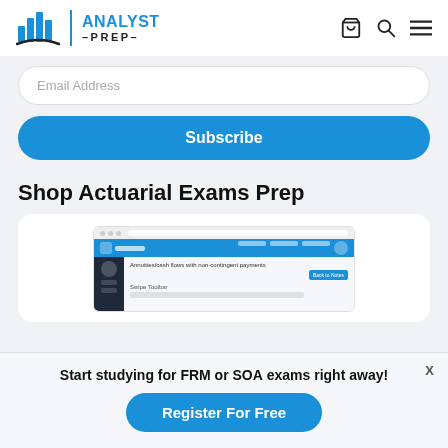ANALYST PREP
Email Address
Subscribe
Shop Actuarial Exams Prep
[Figure (screenshot): Screenshot of AnalystPrep platform showing a lesson on annuities/cash flows with non-contingent payments]
Start studying for FRM or SOA exams right away!
Register For Free